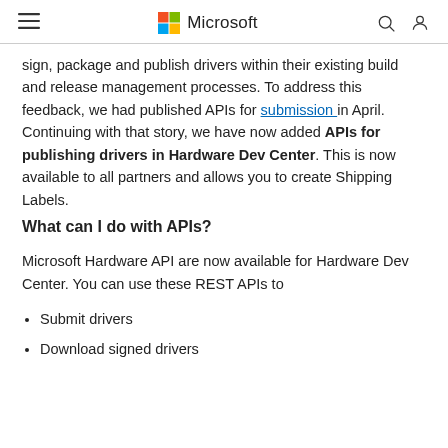Microsoft
sign, package and publish drivers within their existing build and release management processes. To address this feedback, we had published APIs for submission in April. Continuing with that story, we have now added APIs for publishing drivers in Hardware Dev Center. This is now available to all partners and allows you to create Shipping Labels.
What can I do with APIs?
Microsoft Hardware API are now available for Hardware Dev Center. You can use these REST APIs to
Submit drivers
Download signed drivers